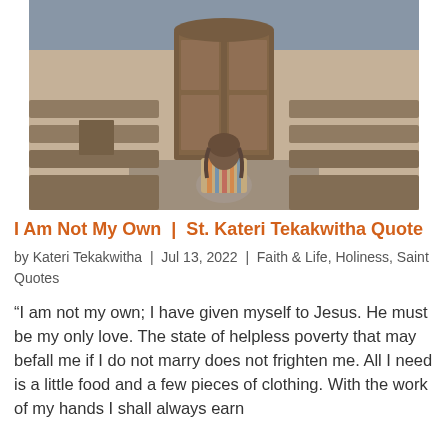[Figure (photo): A person seen from behind, seated in a wooden church pew, facing large wooden doors. The church interior shows wooden pews on either side and brick walls. The person is wearing a colorful patterned garment.]
I Am Not My Own | St. Kateri Tekakwitha Quote
by Kateri Tekakwitha | Jul 13, 2022 | Faith & Life, Holiness, Saint Quotes
“I am not my own; I have given myself to Jesus. He must be my only love. The state of helpless poverty that may befall me if I do not marry does not frighten me. All I need is a little food and a few pieces of clothing. With the work of my hands I shall always earn